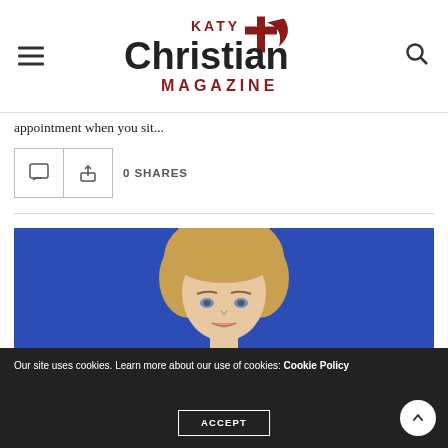Katy Christian Magazine
appointment when you sit...
0 SHARES
[Figure (photo): A blonde woman against a blue background, partial view showing head and upper face, looking upward]
Our site uses cookies. Learn more about our use of cookies: Cookie Policy